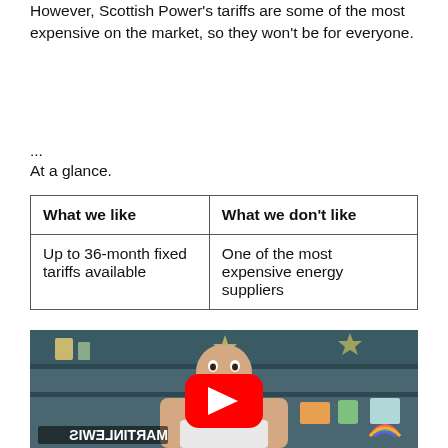However, Scottish Power's tariffs are some of the most expensive on the market, so they won't be for everyone.
...
At a glance.
| What we like | What we don't like |
| --- | --- |
| Up to 36-month fixed tariffs available | One of the most expensive energy suppliers |
[Figure (screenshot): Video thumbnail showing a man in front of a bookshelf background with a YouTube play button overlay. Text at bottom reads 'MARTINLEWIS' mirrored.]